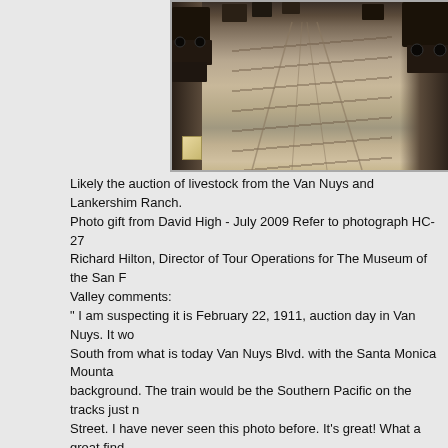[Figure (photo): Sepia-toned historical photograph showing a dirt road with early automobiles parked on both sides, taken from ground level looking down the road with mountains visible in background. Appears to be early 1900s.]
Likely the auction of livestock from the Van Nuys and Lankershim Ranch. Photo gift from David High - July 2009 Refer to photograph HC-27 Richard Hilton, Director of Tour Operations for The Museum of the San Fernando Valley comments: " I am suspecting it is February 22, 1911, auction day in Van Nuys. It would be looking South from what is today Van Nuys Blvd. with the Santa Monica Mountains in the background. The train would be the Southern Pacific on the tracks just north of Oxnard Street. I have never seen this photo before. It's great! What a great find whatever they are." Note: Mr. Hilton is planning a special walking tour of downtown Van Nuys
More from Richard Hilton
Okay, now I am thinking that this was the Lankershim/Van Nuys auction of farm equipment, livestock, etc. of the several different ranches held by the Suburban Homes Co. It was held November 4, 1910 and was a huge event. 9000 people there. The Times reports 7 special RR cars packed to the gills an